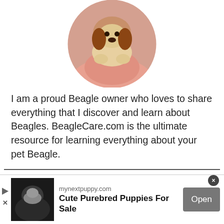[Figure (photo): Circular cropped photo of a person in a pink shirt holding a beagle puppy, shown from the torso up, dog facing camera with paws visible]
I am a proud Beagle owner who loves to share everything that I discover and learn about Beagles. BeagleCare.com is the ultimate resource for learning everything about your pet Beagle.
FIND US ON YOUTUBE
[Figure (logo): Yellow banner with circular light spots and italic white text reading 'Beagle Care']
[Figure (screenshot): Advertisement bar: thumbnail of person holding a dog, domain mynextpuppy.com, title 'Cute Purebred Puppies For Sale', with an 'Open' button]